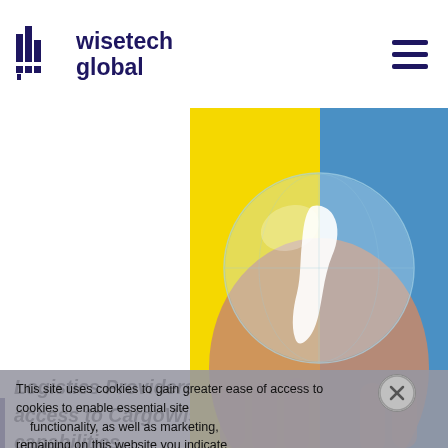WiseTech Global
[Figure (photo): Hand holding a glass globe showing South America continent, with yellow and blue background]
This site uses cookies to gain greater ease of access to cookies to enable essential site functionality, as well as marketing, remaining on this website you indicate your consent.
Logistics Providers to gain greater ease of access to CargoWise One's global capabilities. WiseTech Global, the technology development company behind industry-leading supply chain platform CargoWise One, has announced that Bysoft Soluções em Comércio Exterior has joined the WiseBusiness Partner program as a distributor for CargoWise One in Brazil. Local Freight Forwarders, Customs Brokers, Transporters, Warehouse service
Privacy Policy